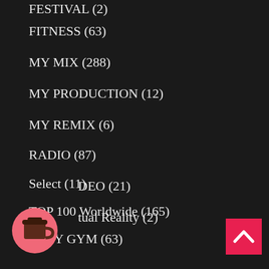FESTIVAL (2)
FITNESS (63)
MY MIX (288)
MY PRODUCTION (12)
MY REMIX (6)
RADIO (87)
Select (11)
TOP 100 Worldwide (165)
TOTY GYM (63)
TOTYcoloGEE (171)
VIDEO (21)
Virtual Reality (2)